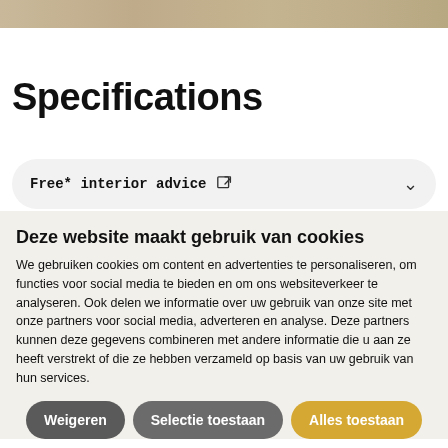[Figure (photo): Partial photo of interior/furniture item at top of page]
Specifications
Free* interior advice
Deze website maakt gebruik van cookies
We gebruiken cookies om content en advertenties te personaliseren, om functies voor social media te bieden en om ons websiteverkeer te analyseren. Ook delen we informatie over uw gebruik van onze site met onze partners voor social media, adverteren en analyse. Deze partners kunnen deze gegevens combineren met andere informatie die u aan ze heeft verstrekt of die ze hebben verzameld op basis van uw gebruik van hun services.
Weigeren | Selectie toestaan | Alles toestaan
Noodzakelijk  Voorkeuren  Statistieken  Marketing  Details tonen